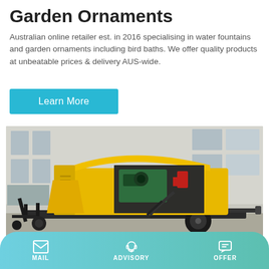Garden Ornaments
Australian online retailer est. in 2016 specialising in water fountains and garden ornaments including bird baths. We offer quality products at unbeatable prices & delivery AUS-wide.
Learn More
[Figure (photo): Yellow diesel-powered concrete pump on a trailer with black chassis, open hood showing green engine, parked inside or near an industrial building.]
MAIL   ADVISORY   OFFER